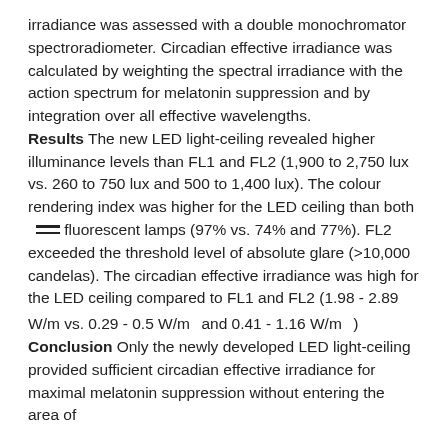irradiance was assessed with a double monochromator spectroradiometer. Circadian effective irradiance was calculated by weighting the spectral irradiance with the action spectrum for melatonin suppression and by integration over all effective wavelengths. Results The new LED light-ceiling revealed higher illuminance levels than FL1 and FL2 (1,900 to 2,750 lux vs. 260 to 750 lux and 500 to 1,400 lux). The colour rendering index was higher for the LED ceiling than both fluorescent lamps (97% vs. 74% and 77%). FL2 exceeded the threshold level of absolute glare (>10,000 candelas). The circadian effective irradiance was high for the LED ceiling compared to FL1 and FL2 (1.98 - 2.89 W/m vs. 0.29 - 0.5 W/m  and 0.41 - 1.16 W/m  ) Conclusion Only the newly developed LED light-ceiling provided sufficient circadian effective irradiance for maximal melatonin suppression without entering the area of